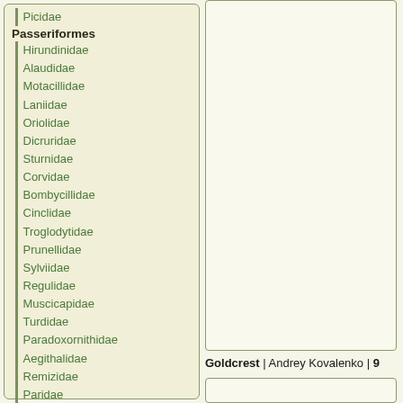Picidae
Passeriformes
Hirundinidae
Alaudidae
Motacillidae
Laniidae
Oriolidae
Dicruridae
Sturnidae
Corvidae
Bombycillidae
Cinclidae
Troglodytidae
Prunellidae
Sylviidae
Regulidae
Muscicapidae
Turdidae
Paradoxornithidae
Aegithalidae
Remizidae
Paridae
Sittidae
Certhiidae
Ploceidae
Fringillidae
Emberizidae
[Figure (photo): Photo panel - blank/white image area on the right side of the page]
Goldcrest | Andrey Kovalenko | 9
[Figure (photo): Bottom photo panel - blank/white image area]